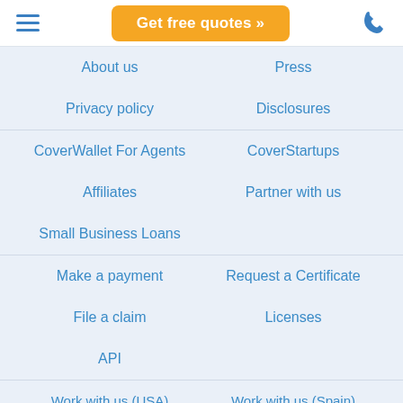Get free quotes »
About us
Press
Privacy policy
Disclosures
CoverWallet For Agents
CoverStartups
Affiliates
Partner with us
Small Business Loans
Make a payment
Request a Certificate
File a claim
Licenses
API
Work with us (USA)
Work with us (Spain)